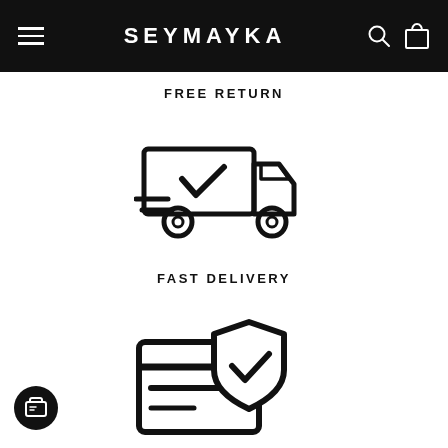SEYMAYKA
FREE RETURN
[Figure (illustration): Fast delivery truck icon with checkmark, speed lines]
FAST DELIVERY
[Figure (illustration): Secure payment icon with credit card and shield checkmark]
SECURE PAYMENT